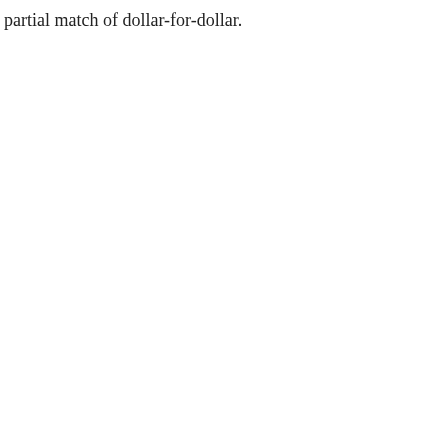partial match of dollar-for-dollar.
[Figure (other): Empty media player box with playback controls (X and play button) in cyan/blue color at the bottom left of the box.]